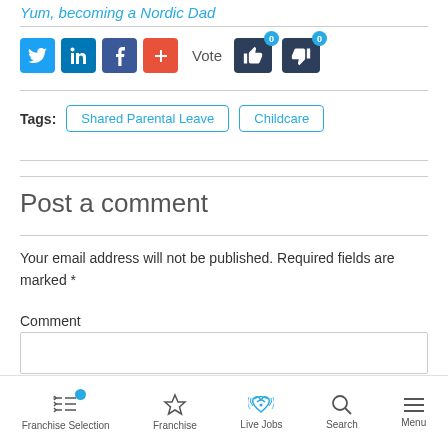Yum, becoming a Nordic Dad
[Figure (screenshot): Social sharing buttons: Twitter, LinkedIn, Facebook, plus button, Vote thumbs up and thumbs down with 0 counts]
Tags: Shared Parental Leave  Childcare
Post a comment
Your email address will not be published. Required fields are marked *
Comment
[Figure (screenshot): Bottom navigation bar with: Franchise Selection (active with blue dot), Franchise, Live Jobs, Search, Menu]